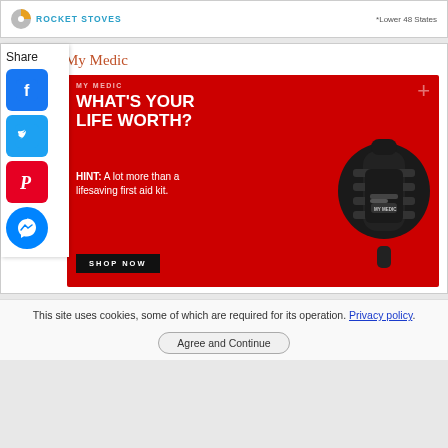[Figure (logo): Rocket Stoves logo with circular icon and text, '*Lower 48 States' note]
My Medic
[Figure (advertisement): My Medic red advertisement showing a black tactical first-aid kit bag, headline 'WHAT'S YOUR LIFE WORTH?', hint text 'HINT: A lot more than a lifesaving first aid kit.', and 'SHOP NOW' button. Social share sidebar with Facebook, Twitter, Pinterest, and Messenger buttons.]
This site uses cookies, some of which are required for its operation. Privacy policy.
Agree and Continue